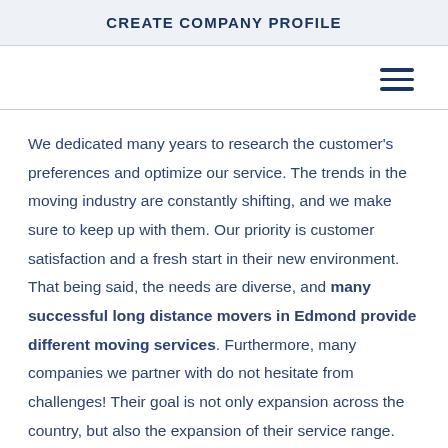CREATE COMPANY PROFILE
We dedicated many years to research the customer's preferences and optimize our service. The trends in the moving industry are constantly shifting, and we make sure to keep up with them. Our priority is customer satisfaction and a fresh start in their new environment. That being said, the needs are diverse, and many successful long distance movers in Edmond provide different moving services. Furthermore, many companies we partner with do not hesitate from challenges! Their goal is not only expansion across the country, but also the expansion of their service range. That is exactly what makes a moving company top-level. Work ethic combined with innovative plans is what people appreciate when it comes to quality movers.